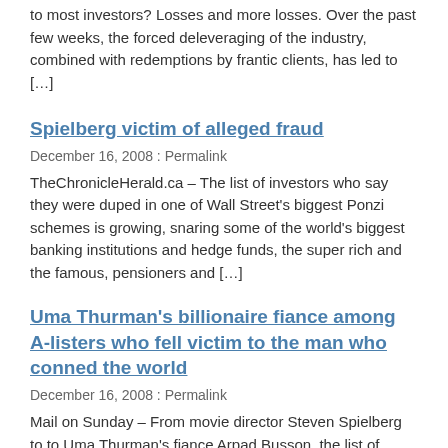to most investors? Losses and more losses. Over the past few weeks, the forced deleveraging of the industry, combined with redemptions by frantic clients, has led to […]
Spielberg victim of alleged fraud
December 16, 2008 : Permalink
TheChronicleHerald.ca – The list of investors who say they were duped in one of Wall Street's biggest Ponzi schemes is growing, snaring some of the world's biggest banking institutions and hedge funds, the super rich and the famous, pensioners and […]
Uma Thurman's billionaire fiance among A-listers who fell victim to the man who conned the world
December 16, 2008 : Permalink
Mail on Sunday – From movie director Steven Spielberg to to Uma Thurman's fiance Arpad Busson, the list of billionaire businessmen and Hollywood A-listers sucked into the world's biggest financial fraud is growing. Some of the best-known names in banking […]
U.S. hedge funds bleeding, one gone